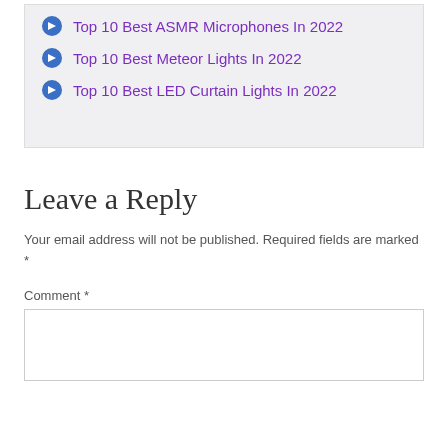Top 10 Best ASMR Microphones In 2022
Top 10 Best Meteor Lights In 2022
Top 10 Best LED Curtain Lights In 2022
Leave a Reply
Your email address will not be published. Required fields are marked *
Comment *